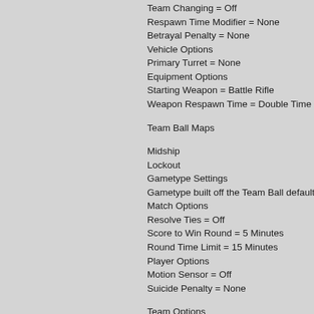Team Changing = Off
Respawn Time Modifier = None
Betrayal Penalty = None
Vehicle Options
Primary Turret = None
Equipment Options
Starting Weapon = Battle Rifle
Weapon Respawn Time = Double Time
Team Ball Maps
Midship
Lockout
Gametype Settings
Gametype built off the Team Ball default g
Match Options
Resolve Ties = Off
Score to Win Round = 5 Minutes
Round Time Limit = 15 Minutes
Player Options
Motion Sensor = Off
Suicide Penalty = None
Team Options
Team Changing = Off
Respawn Time Modifier = None